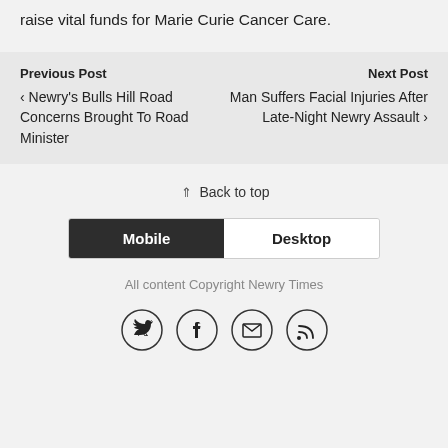raise vital funds for Marie Curie Cancer Care.
Previous Post
‹ Newry's Bulls Hill Road Concerns Brought To Road Minister
Next Post
Man Suffers Facial Injuries After Late-Night Newry Assault ›
⇑ Back to top
Mobile | Desktop
All content Copyright Newry Times